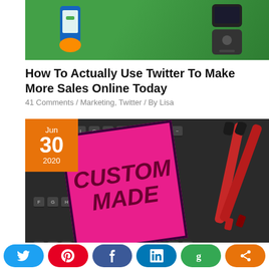[Figure (photo): Illustration of hands holding a smartphone with a flip phone on a green background]
How To Actually Use Twitter To Make More Sales Online Today
41 Comments / Marketing, Twitter / By Lisa
[Figure (photo): Photo of a pink sticky note with 'CUSTOM MADE' written on it, on a dark keyboard with red markers. Orange date badge shows Jun 30 2020.]
[Figure (infographic): Social share bar with Twitter, Pinterest, Facebook, LinkedIn, Google, and Share buttons]